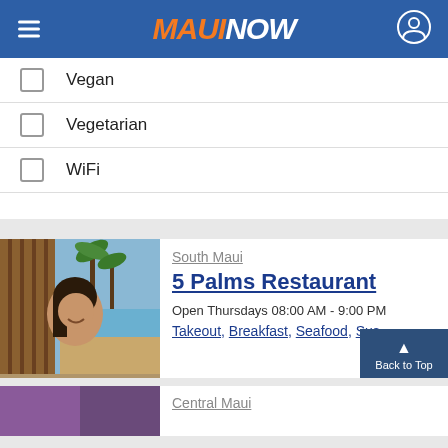MAUI NOW
Vegan
Vegetarian
WiFi
South Maui
5 Palms Restaurant
Open Thursdays 08:00 AM - 9:00 PM
Takeout, Breakfast, Seafood, Sus...
[Figure (photo): Photo of a smiling woman with palm trees and beach in the background]
Central Maui